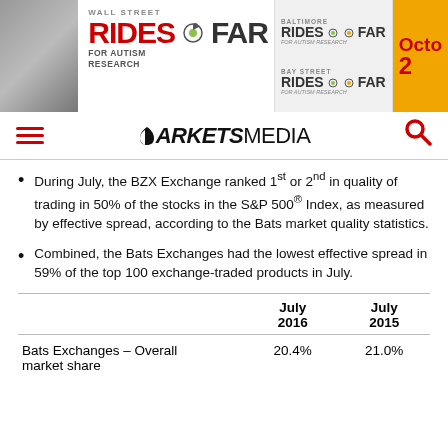[Figure (illustration): Wall Street Rides Far for Autism Research event banner with Baltimore and Bay Street Rides Far logos and October date in yellow]
MARKETS MEDIA
During July, the BZX Exchange ranked 1st or 2nd in quality of trading in 50% of the stocks in the S&P 500® Index, as measured by effective spread, according to the Bats market quality statistics.
Combined, the Bats Exchanges had the lowest effective spread in 59% of the top 100 exchange-traded products in July.
|  | July 2016 | July 2015 |
| --- | --- | --- |
| Bats Exchanges – Overall market share | 20.4% | 21.0% |